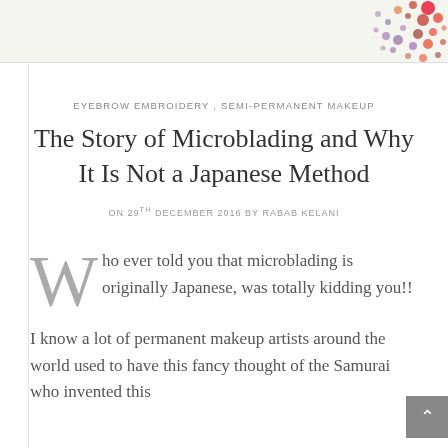[Figure (illustration): Top banner with decorative colorful dot/circle pattern in top-right corner on light background]
EYEBROW EMBROIDERY , SEMI-PERMANENT MAKEUP
The Story of Microblading and Why It Is Not a Japanese Method
ON 29TH DECEMBER 2016 BY RABAB KELANI
Who ever told you that microblading is originally Japanese, was totally kidding you!!
I know a lot of permanent makeup artists around the world used to have this fancy thought of the Samurai who invented this